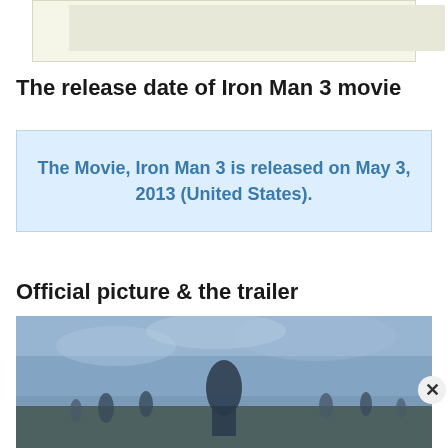[Figure (other): Advertisement banner box with light beige/cream background]
The release date of Iron Man 3 movie
The Movie, Iron Man 3 is released on May 3, 2013 (United States).
Official picture & the trailer
[Figure (photo): Iron Man 3 official movie poster showing armored characters standing in a dramatic outdoor scene]